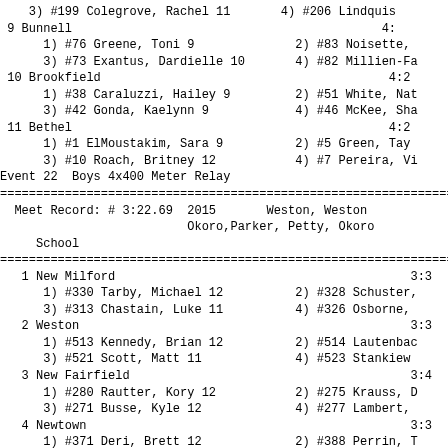3) #199 Colegrove, Rachel 11    4) #206 Lindquist
9 Bunnell                                        4:
    1) #76 Greene, Toni 9          2) #83 Noisette,
    3) #73 Exantus, Dardielle 10   4) #82 Millien-Fa
10 Brookfield                                    4:2
    1) #38 Caraluzzi, Hailey 9     2) #51 White, Nat
    3) #42 Gonda, Kaelynn 9        4) #46 McKee, Sha
11 Bethel                                        4:2
    1) #1 ElMoustakim, Sara 9      2) #5 Green, Tay
    3) #10 Roach, Britney 12       4) #7 Pereira, Vi
Event 22  Boys 4x400 Meter Relay
Meet Record: # 3:22.69  2015      Weston, Weston
                        Okoro,Parker, Petty, Okoro
    School
1 New Milford                                      3:3
    1) #330 Tarby, Michael 12      2) #328 Schuster,
    3) #313 Chastain, Luke 11      4) #326 Osborne,
2 Weston                                           3:3
    1) #513 Kennedy, Brian 12      2) #514 Lautenbac
    3) #521 Scott, Matt 11         4) #523 Stankiew
3 New Fairfield                                    3:4
    1) #280 Rautter, Kory 12       2) #275 Krauss, D
    3) #271 Busse, Kyle 12         4) #277 Lambert,
4 Newtown                                          3:3
    1) #371 Deri, Brett 12         2) #388 Perrin, T
    3) #368 Barden, James 12       4) #385 Moxham, G
5 Immaculate                                       3:3